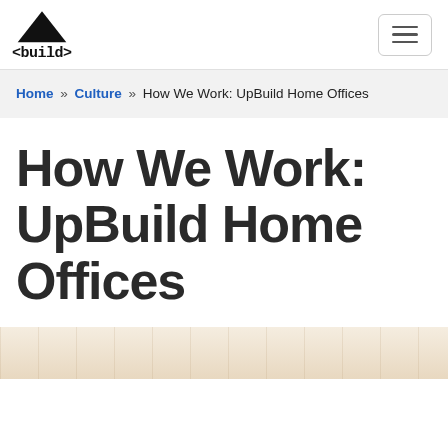<build> logo with navigation hamburger menu
Home » Culture » How We Work: UpBuild Home Offices
How We Work: UpBuild Home Offices
[Figure (photo): Partial view of a wooden desk or surface, warm beige/cream tones, bottom of page]